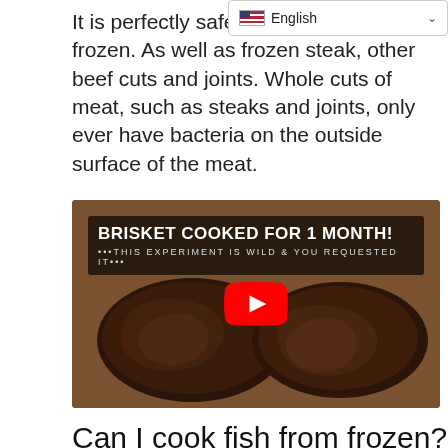English
It is perfectly safe to cook beef from frozen. As well as frozen steak, other beef cuts and joints. Whole cuts of meat, such as steaks and joints, only ever have bacteria on the outside surface of the meat.
[Figure (screenshot): YouTube video thumbnail showing a cooked dark brisket on a wooden board with title 'BRISKET COOKED FOR 1 MONTH!' and subtitle '***THIS EXPERIMENT IS WILD & YOU REQUESTED IT***', with a YouTube play button overlay.]
Can I cook fish from frozen?